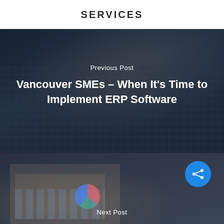SERVICES
[Figure (photo): Dark-toned photograph of hands typing on a laptop keyboard, used as background for Previous Post navigation block]
Previous Post
Vancouver SMEs – When It's Time to Implement ERP Software
[Figure (photo): Dark-toned photograph of a tablet showing charts and graphs, with a blue circular share button, used as background for Next Post navigation block]
Next Post